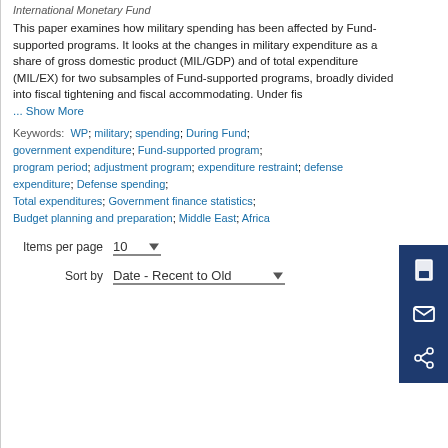International Monetary Fund
This paper examines how military spending has been affected by Fund-supported programs. It looks at the changes in military expenditure as a share of gross domestic product (MIL/GDP) and of total expenditure (MIL/EX) for two subsamples of Fund-supported programs, broadly divided into fiscal tightening and fiscal accommodating. Under fis
... Show More
Keywords:  WP; military; spending; During Fund; government expenditure; Fund-supported program; program period; adjustment program; expenditure restraint; defense expenditure; Defense spending; Total expenditures; Government finance statistics; Budget planning and preparation; Middle East; Africa
Items per page  10
Sort by  Date - Recent to Old